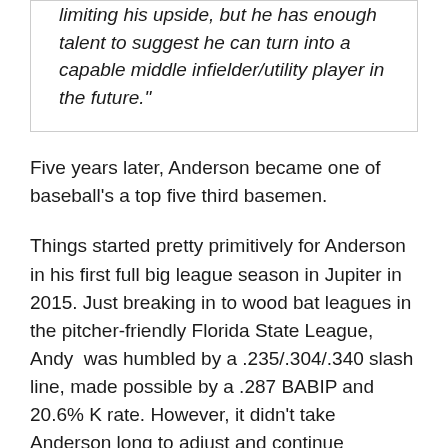limiting his upside, but he has enough talent to suggest he can turn into a capable middle infielder/utility player in the future."
Five years later, Anderson became one of baseball's a top five third basemen.
Things started pretty primitively for Anderson in his first full big league season in Jupiter in 2015. Just breaking in to wood bat leagues in the pitcher-friendly Florida State League, Andy  was humbled by a .235/.304/.340 slash line, made possible by a .287 BABIP and 20.6% K rate. However, it didn't take Anderson long to adjust and continue developing as the Marlins' top prospect. Back in a Hammerheads jersey